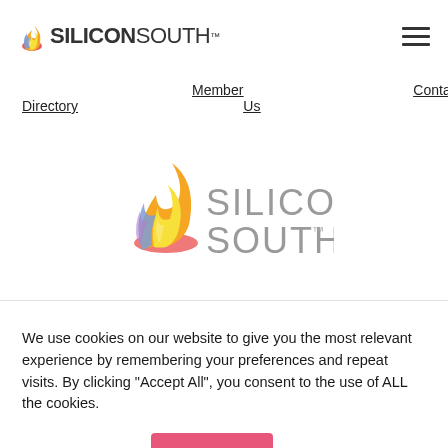[Figure (logo): Silicon South logo in top navigation bar with flame icon and bold/light text combination]
Member Directory
Contact Us
[Figure (logo): Large Silicon South logo centered on page with multicolor flame icon, gray text reading SILICON SOUTH with TM mark]
We use cookies on our website to give you the most relevant experience by remembering your preferences and repeat visits. By clicking “Accept All”, you consent to the use of ALL the cookies.
Cookie Settings
Accept All